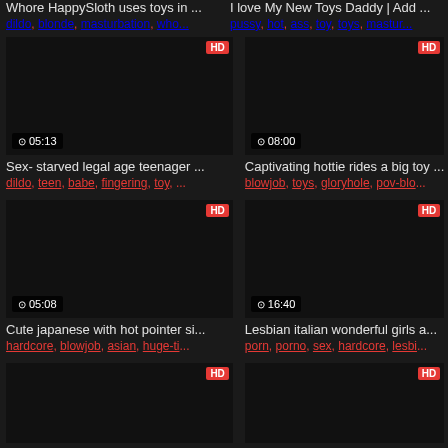Whore HappySloth uses toys in ...
dildo, blonde, masturbation, who...
I love My New Toys Daddy | Add ...
pussy, hot, ass, toy, toys, mastur...
[Figure (screenshot): Video thumbnail: sex-starved legal age teenager beauty grabs a. Duration 05:13, HD badge]
Sex- starved legal age teenager ...
dildo, teen, babe, fingering, toy, ...
[Figure (screenshot): Video thumbnail: captivating hottie rides a big toy at gloryhole. Duration 08:00, HD badge]
Captivating hottie rides a big toy ...
blowjob, toys, gloryhole, pov-blo...
[Figure (screenshot): Video thumbnail: cute japanese with hot pointer sisters masturbates wildly. Duration 05:08, HD badge]
Cute japanese with hot pointer si...
hardcore, blowjob, asian, huge-ti...
[Figure (screenshot): Video thumbnail: lesbian italian wonderful girls and their. Duration 16:40, HD badge]
Lesbian italian wonderful girls a...
porn, porno, sex, hardcore, lesbi...
[Figure (screenshot): Video thumbnail: look at beautiful and so sexy teens playing. HD badge]
[Figure (screenshot): Video thumbnail: fat pussy puerta rican plays with. HD badge]